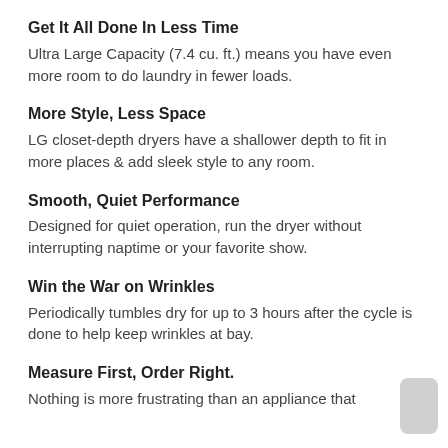Get It All Done In Less Time
Ultra Large Capacity (7.4 cu. ft.) means you have even more room to do laundry in fewer loads.
More Style, Less Space
LG closet-depth dryers have a shallower depth to fit in more places & add sleek style to any room.
Smooth, Quiet Performance
Designed for quiet operation, run the dryer without interrupting naptime or your favorite show.
Win the War on Wrinkles
Periodically tumbles dry for up to 3 hours after the cycle is done to help keep wrinkles at bay.
Measure First, Order Right.
Nothing is more frustrating than an appliance that